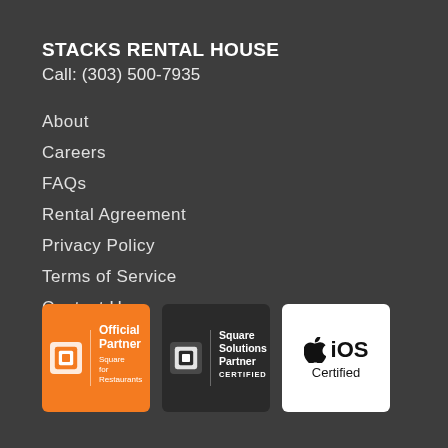STACKS RENTAL HOUSE
Call: (303) 500-7935
About
Careers
FAQs
Rental Agreement
Privacy Policy
Terms of Service
Contact Us
[Figure (logo): Square Official Partner - Square for Restaurants badge (orange background)]
[Figure (logo): Square Solutions Partner Certified badge (dark background)]
[Figure (logo): Apple iOS Certified badge (white background)]